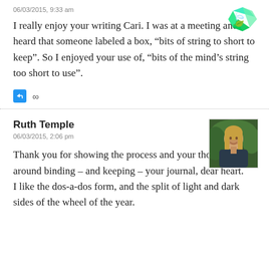06/03/2015, 9:33 am
[Figure (logo): Green angular logo in top right corner]
I really enjoy your writing Cari. I was at a meeting and heard that someone labeled a box, “bits of string to short to keep”. So I enjoyed your use of, “bits of the mind’s string too short to use”.
[Figure (other): Reply icon (blue square with reply arrow) and infinity symbol]
Ruth Temple
06/03/2015, 2:06 pm
[Figure (photo): Portrait photo of Ruth Temple, a woman with long blonde hair outdoors]
Thank you for showing the process and your thoughts around binding – and keeping – your journal, dear heart.
I like the dos-a-dos form, and the split of light and dark sides of the wheel of the year.